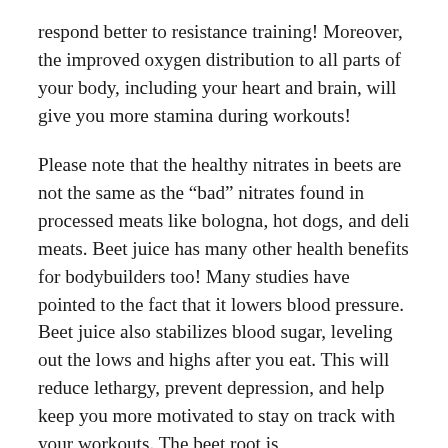respond better to resistance training! Moreover, the improved oxygen distribution to all parts of your body, including your heart and brain, will give you more stamina during workouts!
Please note that the healthy nitrates in beets are not the same as the “bad” nitrates found in processed meats like bologna, hot dogs, and deli meats. Beet juice has many other health benefits for bodybuilders too! Many studies have pointed to the fact that it lowers blood pressure. Beet juice also stabilizes blood sugar, leveling out the lows and highs after you eat. This will reduce lethargy, prevent depression, and help keep you more motivated to stay on track with your workouts. The beet root is